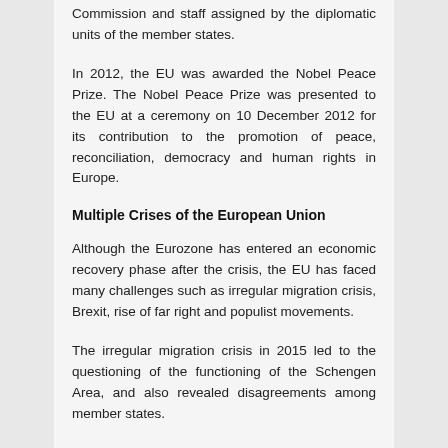Commission and staff assigned by the diplomatic units of the member states.
In 2012, the EU was awarded the Nobel Peace Prize. The Nobel Peace Prize was presented to the EU at a ceremony on 10 December 2012 for its contribution to the promotion of peace, reconciliation, democracy and human rights in Europe.
Multiple Crises of the European Union
Although the Eurozone has entered an economic recovery phase after the crisis, the EU has faced many challenges such as irregular migration crisis, Brexit, rise of far right and populist movements.
The irregular migration crisis in 2015 led to the questioning of the functioning of the Schengen Area, and also revealed disagreements among member states.